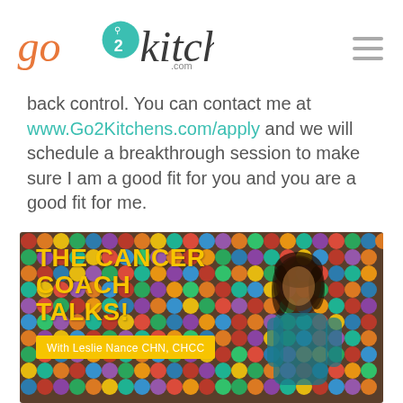[Figure (logo): go2kitchens.com logo with hamburger menu icon]
back control. You can contact me at www.Go2Kitchens.com/apply and we will schedule a breakthrough session to make sure I am a good fit for you and you are a good fit for me.
[Figure (photo): The Cancer Coach Talks! promotional image with Leslie Nance CHN, CHCC in front of Aboriginal-style colorful background. Large yellow bold text reads THE CANCER COACH TALKS! with a yellow banner below reading With Leslie Nance CHN, CHCC]